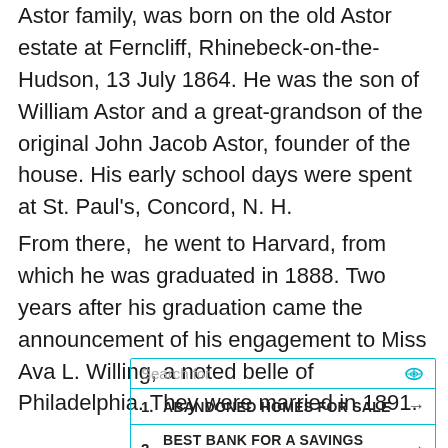Astor family, was born on the old Astor estate at Ferncliff, Rhinebeck-on-the-Hudson, 13 July 1864. He was the son of William Astor and a great-grandson of the original John Jacob Astor, founder of the house. His early school days were spent at St. Paul's, Concord, N. H.
From there,  he went to Harvard, from which he was graduated in 1888. Two years after his graduation came the announcement of his engagement to Miss Ava L. Willing, a noted belle of Philadelphia. They were married in 1891.
[Figure (other): Search widget with search bar labeled 'Search for' and two results: 1. ABANDONED HOMES FOR SALE, 2. BEST BANK FOR A SAVINGS ACCOUNT, each with an arrow indicator.]